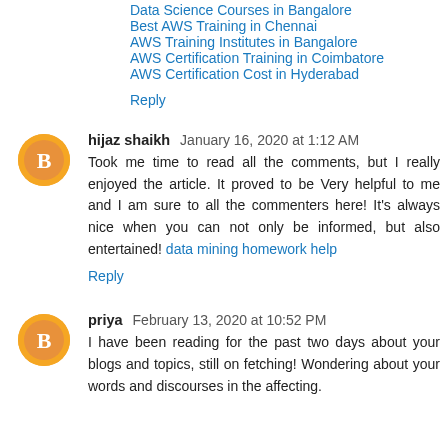Data Science Courses in Bangalore
Best AWS Training in Chennai
AWS Training Institutes in Bangalore
AWS Certification Training in Coimbatore
AWS Certification Cost in Hyderabad
Reply
hijaz shaikh  January 16, 2020 at 1:12 AM
Took me time to read all the comments, but I really enjoyed the article. It proved to be Very helpful to me and I am sure to all the commenters here! It's always nice when you can not only be informed, but also entertained! data mining homework help
Reply
priya  February 13, 2020 at 10:52 PM
I have been reading for the past two days about your blogs and topics, still on fetching! Wondering about your words and discourses in the affecting.